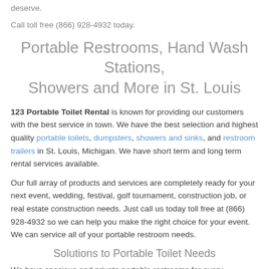deserve.
Call toll free (866) 928-4932 today.
Portable Restrooms, Hand Wash Stations, Showers and More in St. Louis
123 Portable Toilet Rental is known for providing our customers with the best service in town. We have the best selection and highest quality portable toilets, dumpsters, showers and sinks, and restroom trailers in St. Louis, Michigan. We have short term and long term rental services available.
Our full array of products and services are completely ready for your next event, wedding, festival, golf tournament, construction job, or real estate construction needs. Just call us today toll free at (866) 928-4932 so we can help you make the right choice for your event. We can service all of your portable restroom needs.
Solutions to Portable Toilet Needs
We have spacious and private portable restrooms for every